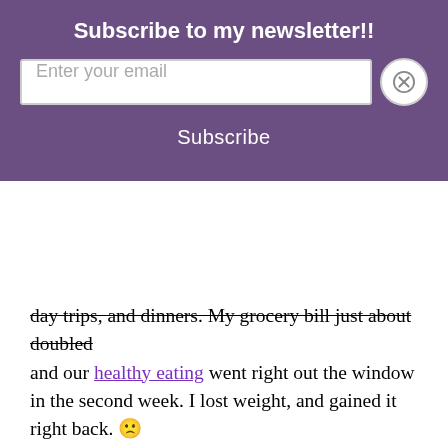Subscribe to my newsletter!!
Enter your email
Subscribe
day trips, and dinners. My grocery bill just about doubled and our healthy eating went right out the window in the second week. I lost weight, and gained it right back. 🙁
We somehow managed to bring enough sand back from the beach to construct a small sandcastle, which will likely stick around until February because my Dyson gave up on me. (Broom, you're up!) The number of outdoor injuries increased significantly and we blew through 4 containers of sunscreen and 1 bottle of insect repellent in about a month. The number of baths we had to give and showers we had to take also increased three-fold, along with the never-ending piles of laundry.
Instead of relaxing in my backyard, lazy cars and more…